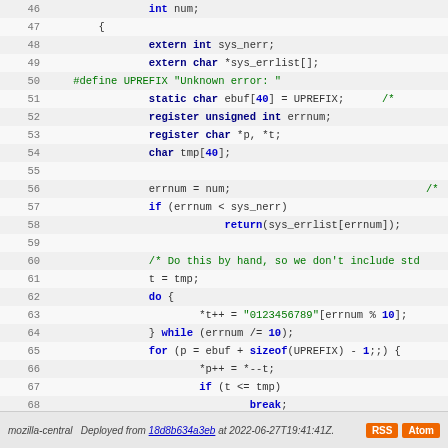[Figure (screenshot): Source code viewer showing C code lines 46-74 with syntax highlighting. Keywords in blue bold, strings/preprocessor in green. Line numbers shown on left. Alternating row background colors.]
mozilla-central  Deployed from 18d8b634a3eb at 2022-06-27T19:41:41Z.  RSS  Atom